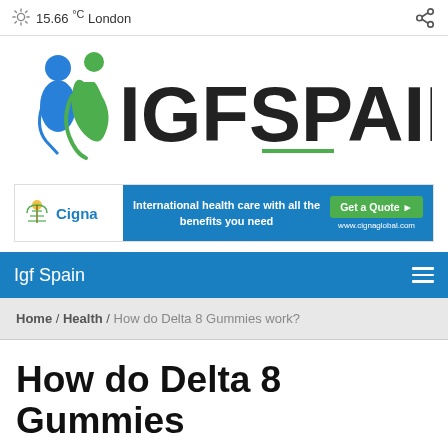15.66°C London
[Figure (logo): IGF Spain logo with two figures (blue and green) and text IGFSPAIN with a green underline]
[Figure (infographic): Cigna advertisement banner: International health care with all the benefits you need. Get a Quote ▸. www.cignaglobal.com]
Igf Spain
Home / Health / How do Delta 8 Gummies work?
How do Delta 8 Gummies